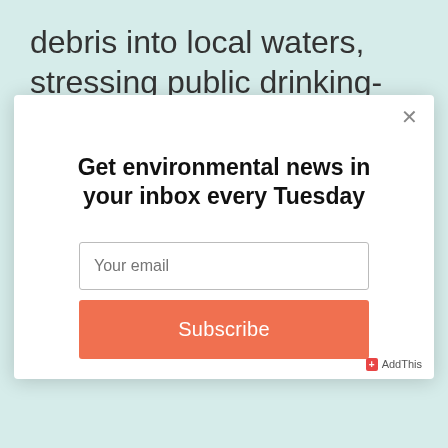debris into local waters, stressing public drinking-water supplies.
Get environmental news in your inbox every Tuesday
Your email
Subscribe
AddThis